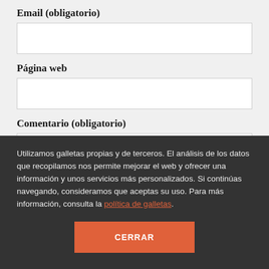Email (obligatorio)
Página web
Comentario (obligatorio)
Utilizamos galletas propias y de terceros. El análisis de los datos que recopilamos nos permite mejorar el web y ofrecer una información y unos servicios más personalizados. Si continúas navegando, consideramos que aceptas su uso. Para más información, consulta la política de galletas.
CERRAR